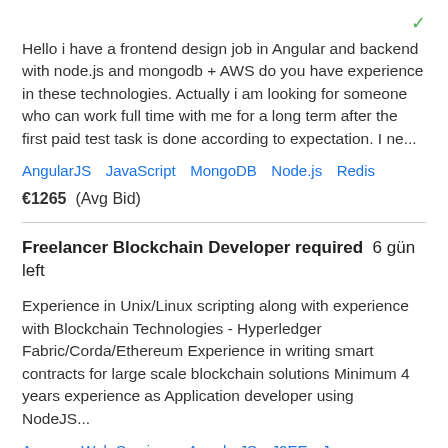[Figure (other): Small green checkmark icon at top right]
Hello i have a frontend design job in Angular and backend with node.js and mongodb + AWS do you have experience in these technologies. Actually i am looking for someone who can work full time with me for a long term after the first paid test task is done according to expectation. I ne...
AngularJS   JavaScript   MongoDB   Node.js   Redis
€1265  (Avg Bid)
Freelancer Blockchain Developer required  6 gün left
Experience in Unix/Linux scripting along with experience with Blockchain Technologies - Hyperledger Fabric/Corda/Ethereum Experience in writing smart contracts for large scale blockchain solutions Minimum 4 years experience as Application developer using NodeJS...
Amazon Web Services   AngularJS   J2EE   Java   Node.js